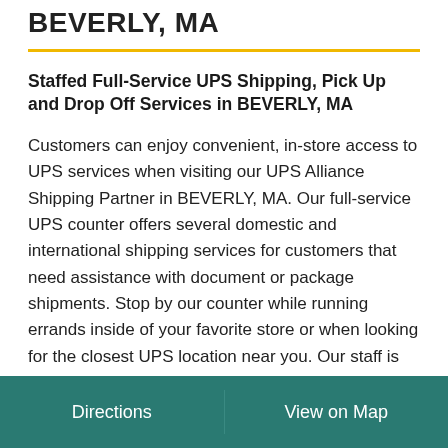BEVERLY, MA
Staffed Full-Service UPS Shipping, Pick Up and Drop Off Services in BEVERLY, MA
Customers can enjoy convenient, in-store access to UPS services when visiting our UPS Alliance Shipping Partner in BEVERLY, MA. Our full-service UPS counter offers several domestic and international shipping services for customers that need assistance with document or package shipments. Stop by our counter while running errands inside of your favorite store or when looking for the closest UPS location near you. Our staff is available to offer quick and reliable service to help ensure that your shipping needs are met. Ask about package materials, rates of packages, or just for advice. No matter what you
Directions    View on Map